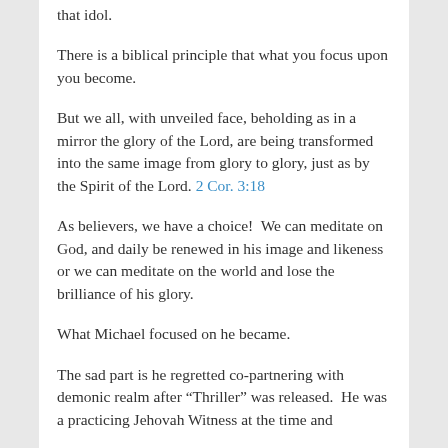that idol.
There is a biblical principle that what you focus upon you become.
But we all, with unveiled face, beholding as in a mirror the glory of the Lord, are being transformed into the same image from glory to glory, just as by the Spirit of the Lord. 2 Cor. 3:18
As believers, we have a choice!  We can meditate on God, and daily be renewed in his image and likeness or we can meditate on the world and lose the brilliance of his glory.
What Michael focused on he became.
The sad part is he regretted co-partnering with demonic realm after “Thriller” was released.  He was a practicing Jehovah Witness at the time and